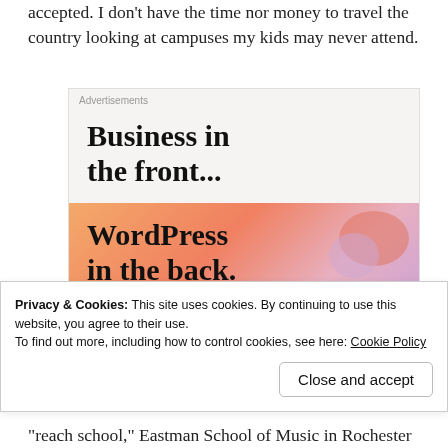accepted. I don't have the time nor money to travel the country looking at campuses my kids may never attend.
[Figure (screenshot): Advertisement banner: top section shows 'Business in the front...' in bold serif on light gray background; bottom section shows 'WordPress in the back.' in bold serif on a colorful gradient background with orange and purple blobs.]
Privacy & Cookies: This site uses cookies. By continuing to use this website, you agree to their use.
To find out more, including how to control cookies, see here: Cookie Policy
Close and accept
“reach school,” Eastman School of Music in Rochester